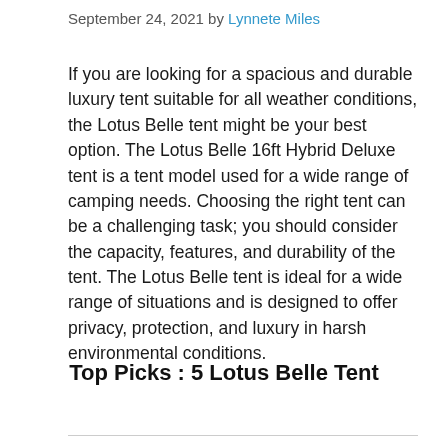September 24, 2021 by Lynnete Miles
If you are looking for a spacious and durable luxury tent suitable for all weather conditions, the Lotus Belle tent might be your best option. The Lotus Belle 16ft Hybrid Deluxe tent is a tent model used for a wide range of camping needs. Choosing the right tent can be a challenging task; you should consider the capacity, features, and durability of the tent. The Lotus Belle tent is ideal for a wide range of situations and is designed to offer privacy, protection, and luxury in harsh environmental conditions.
Top Picks : 5 Lotus Belle Tent